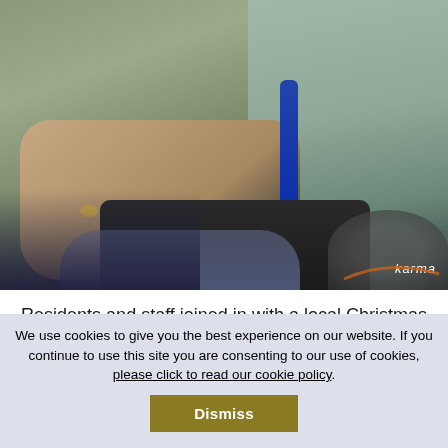[Figure (photo): Close-up photograph of two elderly people in wheelchairs. The foreground shows aged hands resting on a lap, one hand wearing a ring. A blue wheelchair frame is visible in the center. On the right, a person in a light blue/grey top sits in a black 'Karma' branded wheelchair. A tan/yellow jacket is visible in the middle. The setting appears to be indoors.]
Residents and staff joined in with a local Christmas Eve
We use cookies to give you the best experience on our website. If you continue to use this site you are consenting to our use of cookies, please click to read our cookie policy.